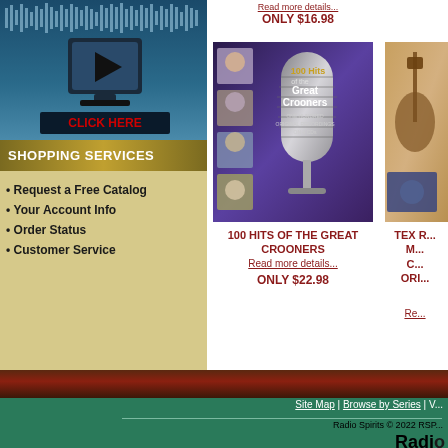[Figure (screenshot): Blue banner with audio waveform graphic and a speaker/turntable icon with CLICK HERE button]
SHOPPING SERVICES
Request a Free Catalog
Your Account Info
Order Status
Customer Service
Read more details... ONLY $16.98
[Figure (photo): Album cover: 100 Hits of the Great Crooners - features vintage microphone and portraits of crooners]
100 HITS OF THE GREAT CROONERS
Read more details...
ONLY $22.98
[Figure (photo): Partial album cover for TEX R... product, partially cut off on right side]
TEX R... M... C... ORI... Re...
Site Map | Browse by Series | V... Radio Spirits © 2022 RSP... Radio Spirits logo